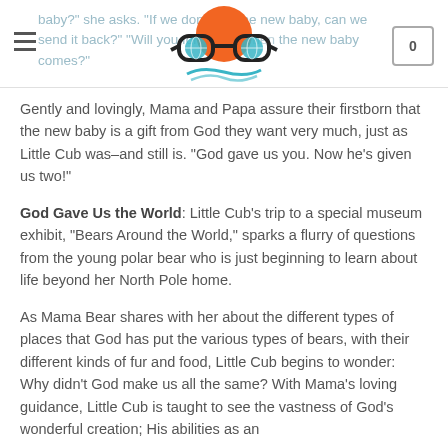Navigation header with hamburger menu, logo, and cart icon (0)
baby?" she asks. "If we don't like the new baby, can we send it back?" "Will you forget me when the new baby comes?" Gently and lovingly, Mama and Papa assure their firstborn that the new baby is a gift from God they want very much, just as Little Cub was–and still is. "God gave us you. Now he's given us two!"
God Gave Us the World: Little Cub's trip to a special museum exhibit, "Bears Around the World," sparks a flurry of questions from the young polar bear who is just beginning to learn about life beyond her North Pole home.
As Mama Bear shares with her about the different types of places that God has put the various types of bears, with their different kinds of fur and food, Little Cub begins to wonder: Why didn't God make us all the same? With Mama's loving guidance, Little Cub is taught to see the vastness of God's wonderful creation; His abilities as an